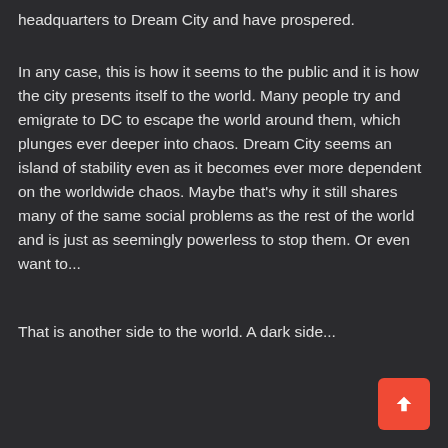headquarters to Dream City and have prospered.
In any case, this is how it seems to the public and it is how the city presents itself to the world. Many people try and emigrate to DC to escape the world around them, which plunges ever deeper into chaos. Dream City seems an island of stability even as it becomes ever more dependent on the worldwide chaos. Maybe that's why it still shares many of the same social problems as the rest of the world and is just as seemingly powerless to stop them. Or even want to...
That is another side to the world. A dark side...